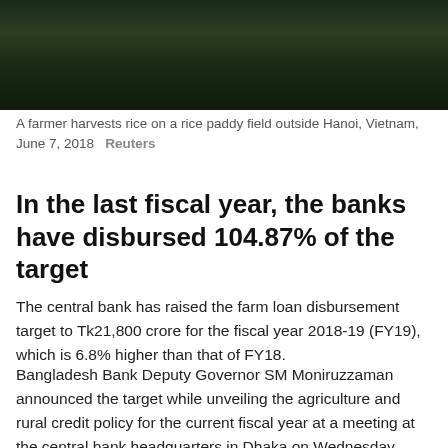[Figure (photo): A farmer harvests rice on a rice paddy field outside Hanoi, Vietnam — dark green field background]
A farmer harvests rice on a rice paddy field outside Hanoi, Vietnam, June 7, 2018   Reuters
In the last fiscal year, the banks have disbursed 104.87% of the target
The central bank has raised the farm loan disbursement target to Tk21,800 crore for the fiscal year 2018-19 (FY19), which is 6.8% higher than that of FY18.
Bangladesh Bank Deputy Governor SM Moniruzzaman announced the target while unveiling the agriculture and rural credit policy for the current fiscal year at a meeting at the central bank headquarters in Dhaka on Wednesday.
“We have set the target considering the increasing demand for agriculture and rural credit with a view to